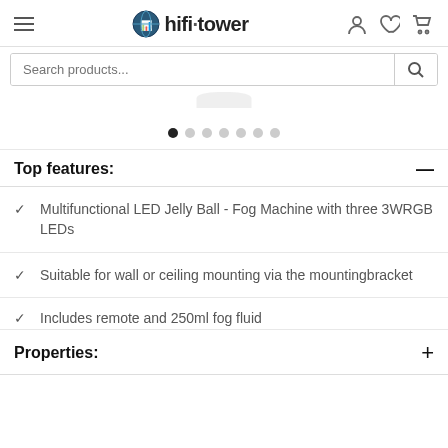hifi tower - navigation header with hamburger menu, logo, and icons
[Figure (screenshot): Search bar with placeholder text 'Search products...' and magnifying glass icon]
[Figure (other): Image carousel with 7 dots, first dot active (dark), rest gray]
Top features:
Multifunctional LED Jelly Ball - Fog Machine with three 3WRGB LEDs
Suitable for wall or ceiling mounting via the mountingbracket
Includes remote and 250ml fog fluid
Properties: